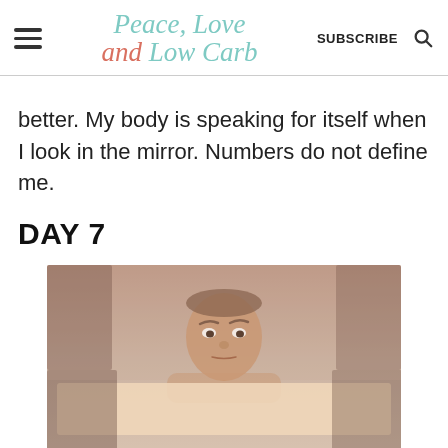Peace, Love and Low Carb — SUBSCRIBE
better. My body is speaking for itself when I look in the mirror. Numbers do not define me.
DAY 7
[Figure (photo): A man peeking over a kitchen counter with eyes visible, looking at camera, kitchen background.]